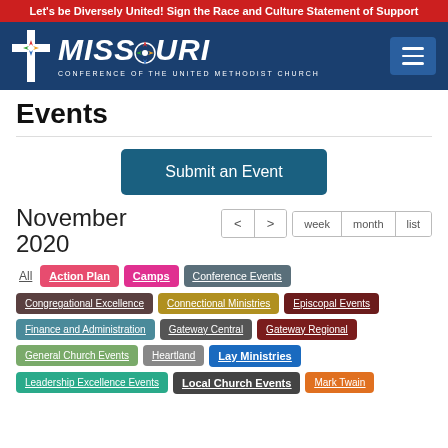Let's be Diversely United! Sign the Race and Culture Statement of Support
[Figure (logo): Missouri Conference of the United Methodist Church logo with cross and compass rose]
Events
Submit an Event
November 2020
< > week month list
All
Action Plan
Camps
Conference Events
Congregational Excellence
Connectional Ministries
Episcopal Events
Finance and Administration
Gateway Central
Gateway Regional
General Church Events
Heartland
Lay Ministries
Leadership Excellence Events
Local Church Events
Mark Twain